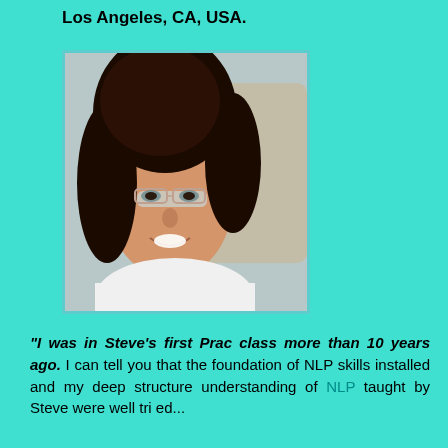Los Angeles, CA, USA.
[Figure (photo): Portrait photo of a woman with dark curly hair and glasses, wearing a white top, smiling, outdoors]
“I was in Steve’s first Prac class more than 10 years ago. I can tell you that the foundation of NLP skills installed and my deep structure understanding of NLP taught by Steve were...